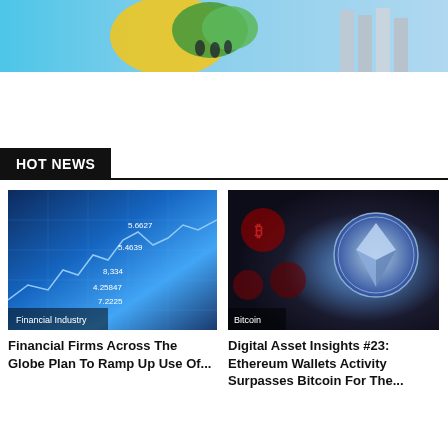[Figure (illustration): Top banner image with colorful illustration featuring trees, people, and buildings on a light blue background with yellow and green accents]
HOT NEWS
[Figure (photo): Financial market data chart on blue digital background showing stock price lines and numbers like 8,334 and 4,25847 and 7,225. Category tag: Financial Industry]
Financial Firms Across The Globe Plan To Ramp Up Use Of...
[Figure (photo): Dark background with multiple Ethereum cryptocurrency coins, one large illuminated Ethereum coin in center. Category tag: Bitcoin]
Digital Asset Insights #23: Ethereum Wallets Activity Surpasses Bitcoin For The...